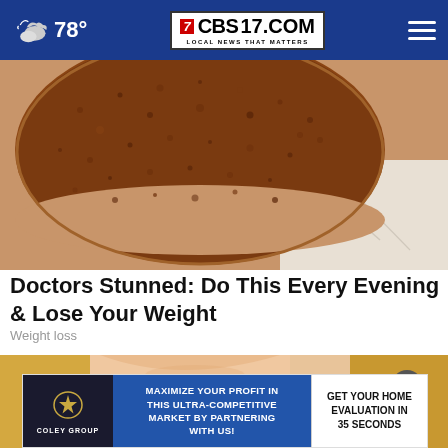78° CBS17.COM LOCAL NEWS THAT MATTERS
[Figure (photo): Close-up photo of a round chocolate cake or dessert with cocoa powder dusted on top, placed on what appears to be a marble or light stone surface]
Doctors Stunned: Do This Every Evening & Lose Your Weight
Weight loss
[Figure (photo): Partial photo of a blonde woman, cropped, with a Coley Group real estate advertisement overlay at the bottom reading: MAXIMIZE YOUR PROFIT IN THIS ULTRA-COMPETITIVE MARKET BY PARTNERING WITH US! GET YOUR HOME EVALUATION IN 35 SECONDS]